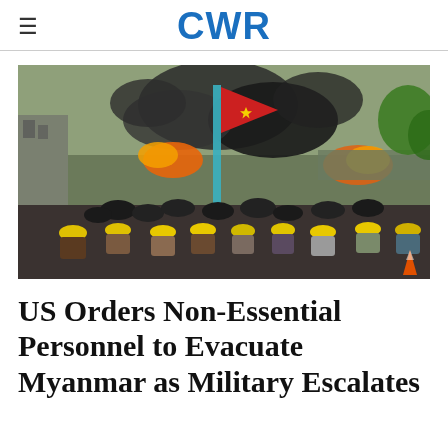CWR
[Figure (photo): Protesters in hard hats crouching behind tire barricades with fires and black smoke billowing in the background, a red flag visible, during the Myanmar military crackdown.]
US Orders Non-Essential Personnel to Evacuate Myanmar as Military Escalates